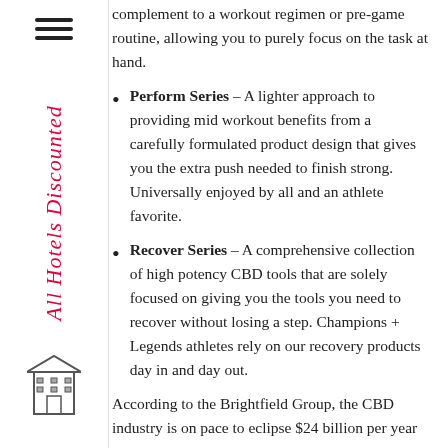complement to a workout regimen or pre-game routine, allowing you to purely focus on the task at hand.
Perform Series – A lighter approach to providing mid workout benefits from a carefully formulated product design that gives you the extra push needed to finish strong. Universally enjoyed by all and an athlete favorite.
Recover Series – A comprehensive collection of high potency CBD tools that are solely focused on giving you the tools you need to recover without losing a step. Champions + Legends athletes rely on our recovery products day in and day out.
According to the Brightfield Group, the CBD industry is on pace to eclipse $24 billion per year